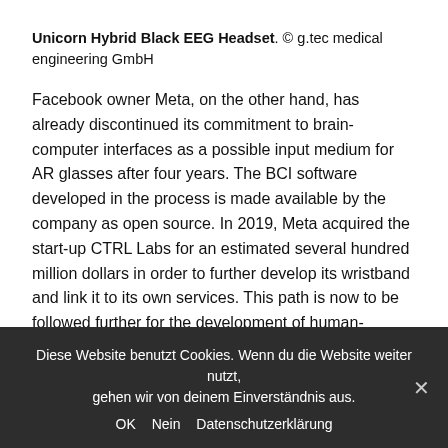Unicorn Hybrid Black EEG Headset. © g.tec medical engineering GmbH
Facebook owner Meta, on the other hand, has already discontinued its commitment to brain-computer interfaces as a possible input medium for AR glasses after four years. The BCI software developed in the process is made available by the company as open source. In 2019, Meta acquired the start-up CTRL Labs for an estimated several hundred million dollars in order to further develop its wristband and link it to its own services. This path is now to be followed further for the development of human-machine interfaces. Instead of communicating directly with the brain, the wristband can read
Diese Website benutzt Cookies. Wenn du die Website weiter nutzt, gehen wir von deinem Einverständnis aus. OK Nein Datenschutzerklärung